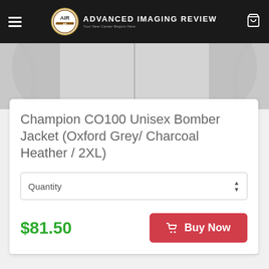Advanced Imaging Review
[Figure (photo): Partial view of a grey hoodie/bomber jacket on a model, cropped to show torso area only]
Champion CO100 Unisex Bomber Jacket (Oxford Grey/ Charcoal Heather / 2XL)
Quantity
$81.50
Buy Now